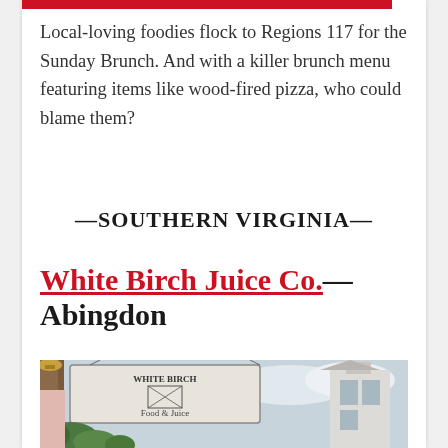Local-loving foodies flock to Regions 117 for the Sunday Brunch. And with a killer brunch menu featuring items like wood-fired pizza, who could blame them?
—SOUTHERN VIRGINIA—
White Birch Juice Co.— Abingdon
[Figure (photo): Outdoor photo of White Birch Food & Juice storefront sign hanging from a wooden beam, with green plants/vines visible and buildings in the background under a cloudy sky.]